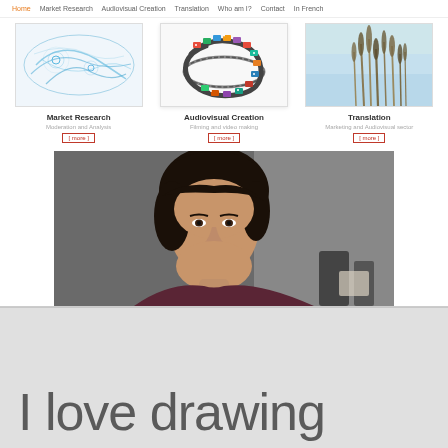Home  Market Research  Audiovisual Creation  Translation  Who am I?  Contact  In French
[Figure (screenshot): Website screenshot showing three service columns: Market Research with abstract blue network image, Audiovisual Creation with film reel image, Translation with nature reeds image. Each column has a title, subtitle, and [more] link.]
[Figure (photo): Portrait photo of a woman with dark hair, smiling, wearing a dark top, against a gray background.]
I love drawing